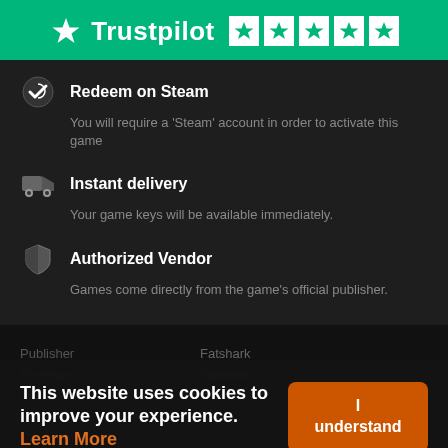[Figure (logo): Trustpilot logo with green background and 5 white stars]
Redeem on Steam
You will require a 'Steam' account in order to activate this game
Instant delivery
Your game keys will be available immediately.
Authorized Vendor
Games come directly from the game's official publisher.
| Publisher | Fatshark |
| --- | --- |
| Developer | Fatshark |
| Platform | Windows |
This website uses cookies to improve your experience. Learn More
I understand